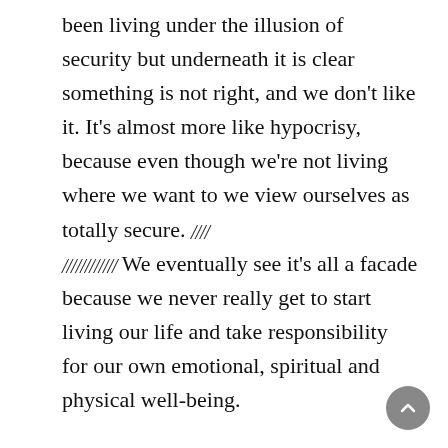been living under the illusion of security but underneath it is clear something is not right, and we don't like it. It's almost more like hypocrisy, because even though we're not living where we want to we view ourselves as totally secure. [redacted] We eventually see it's all a facade because we never really get to start living our life and take responsibility for our own emotional, spiritual and physical well-being.
It's hard to move forward in life when you're not even sure the path. What's gone wrong? Why am I where I am?
But how could you trust yourself and confidence in relationships with God if you don't know the